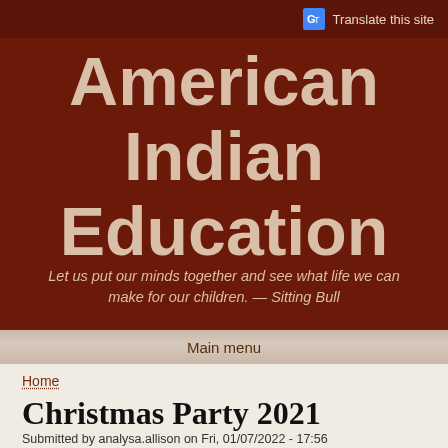Translate this site
American Indian Education
Let us put our minds together and see what life we can make for our children. — Sitting Bull
Main menu
Home
Christmas Party 2021
Submitted by analysa.allison on Fri, 01/07/2022 - 17:56